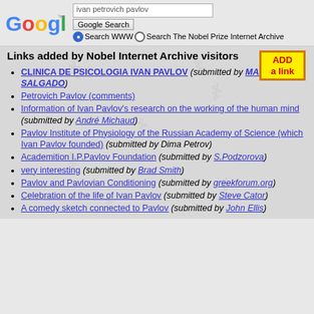[Figure (screenshot): Google search bar with text 'ivan petrovich pavlov', Google Search button, and radio buttons for 'Search WWW' (selected) and 'Search The Nobel Prize Internet Archive']
Links added by Nobel Internet Archive visitors
[Figure (other): ADD a link button — yellow background with orange border and red bold text]
CLINICA DE PSICOLOGIA IVAN PAVLOV (submitted by MARCELO SALGADO)
Petrovich Pavlov (comments)
Information of Ivan Pavlov's research on the working of the human mind (submitted by André Michaud)
Pavlov Institute of Physiology of the Russian Academy of Science (which Ivan Pavlov founded) (submitted by Dima Petrov)
Academition I.P.Pavlov Foundation (submitted by S.Podzorova)
very interesting (submitted by Brad Smith)
Pavlov and Pavlovian Conditioning (submitted by greekforum.org)
Celebration of the life of Ivan Pavlov (submitted by Steve Cator)
A comedy sketch connected to Pavlov (submitted by John Ellis)